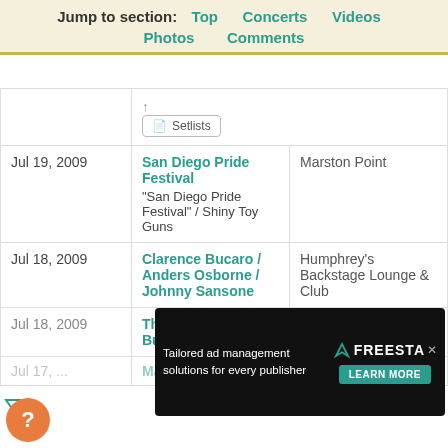Jump to section: Top   Concerts   Videos   Photos   Comments
| Date | Event | Venue |
| --- | --- | --- |
|  | Setlists |  |
| Jul 19, 2009 | San Diego Pride Festival
"San Diego Pride Festival" / Shiny Toy Guns | Marston Point |
| Jul 18, 2009 | Clarence Bucaro / Anders Osborne / Johnny Sansone | Humphrey's Backstage Lounge & Club |
| Jul 18, 2009 | The Builders & The Butchers / Illinois | The Casbah |
| Jul 17, ... | ... | ... |
| Jul 17, 2009 | Mad Caddles |  |
[Figure (screenshot): Advertisement banner: Tailored ad management solutions for every publisher – Freestar, Learn More button]